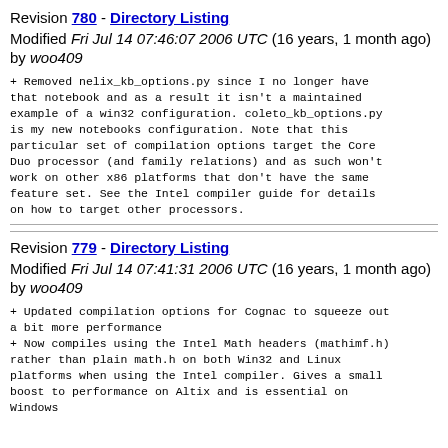Revision 780 - Directory Listing
Modified Fri Jul 14 07:46:07 2006 UTC (16 years, 1 month ago) by woo409
+ Removed nelix_kb_options.py since I no longer have that notebook and as a result it isn't a maintained example of a win32 configuration. coleto_kb_options.py is my new notebooks configuration. Note that this particular set of compilation options target the Core Duo processor (and family relations) and as such won't work on other x86 platforms that don't have the same feature set. See the Intel compiler guide for details on how to target other processors.
Revision 779 - Directory Listing
Modified Fri Jul 14 07:41:31 2006 UTC (16 years, 1 month ago) by woo409
+ Updated compilation options for Cognac to squeeze out a bit more performance
+ Now compiles using the Intel Math headers (mathimf.h) rather than plain math.h on both Win32 and Linux platforms when using the Intel compiler. Gives a small boost to performance on Altix and is essential on Windows